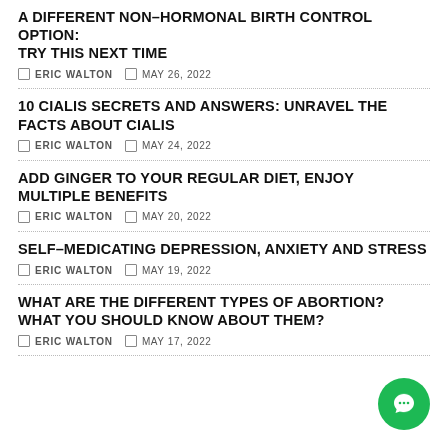A DIFFERENT NON-HORMONAL BIRTH CONTROL OPTION: TRY THIS NEXT TIME
ERIC WALTON   MAY 26, 2022
10 CIALIS SECRETS AND ANSWERS: UNRAVEL THE FACTS ABOUT CIALIS
ERIC WALTON   MAY 24, 2022
ADD GINGER TO YOUR REGULAR DIET, ENJOY MULTIPLE BENEFITS
ERIC WALTON   MAY 20, 2022
SELF-MEDICATING DEPRESSION, ANXIETY AND STRESS
ERIC WALTON   MAY 19, 2022
WHAT ARE THE DIFFERENT TYPES OF ABORTION? WHAT YOU SHOULD KNOW ABOUT THEM?
ERIC WALTON   MAY 17, 2022
[Figure (illustration): Green circular chat button with speech bubble icon in bottom right corner]